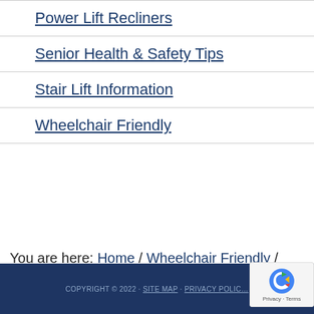Power Lift Recliners
Senior Health & Safety Tips
Stair Lift Information
Wheelchair Friendly
You are here: Home / Wheelchair Friendly / Swimming for Wheelchair Users
COPYRIGHT © 2022 · SITE MAP · PRIVACY POLIC…